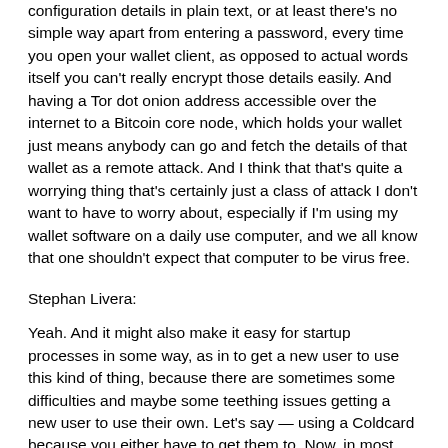configuration details in plain text, or at least there's no simple way apart from entering a password, every time you open your wallet client, as opposed to actual words itself you can't really encrypt those details easily. And having a Tor dot onion address accessible over the internet to a Bitcoin core node, which holds your wallet just means anybody can go and fetch the details of that wallet as a remote attack. And I think that that's quite a worrying thing that's certainly just a class of attack I don't want to have to worry about, especially if I'm using my wallet software on a daily use computer, and we all know that one shouldn't expect that computer to be virus free.
Stephan Livera:
Yeah. And it might also make it easy for startup processes in some way, as in to get a new user to use this kind of thing, because there are sometimes some difficulties and maybe some teething issues getting a new user to use their own. Let's say — using a Coldcard because you either have to get them to. Now, in most cases, they might have to buy, say a one terabyte hard drive or an SSD, and plug that to, their computer to have a full archival node. Ie. Full blockchain history, which as we speak is